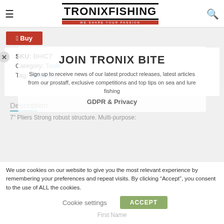TRONIXFISHING — WE SHARE YOUR PASSION
Buy
SKU: BHIC7
Category: Tools
Tag: Small 2kg
Description
7" Pliers Strong robust structure. Multi-purpose:
JOIN TRONIX BITE
Sign up to receive news of our latest product releases, latest articles from our prostaff, exclusive competitions and top tips on sea and lure fishing
GDPR & Privacy
We use cookies on our website to give you the most relevant experience by remembering your preferences and repeat visits. By clicking “Accept”, you consent to the use of ALL the cookies.
Cookie settings   ACCEPT
First Name